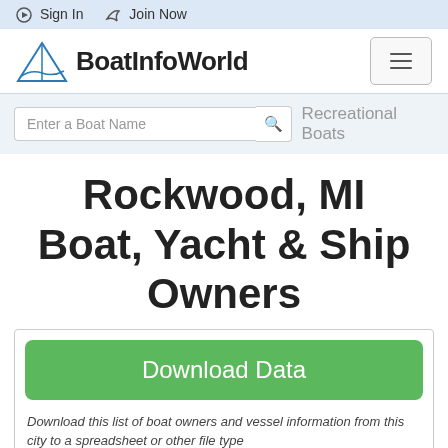Sign In   Join Now
BoatInfoWorld
Enter a Boat Name   Recreational Boats
Rockwood, MI Boat, Yacht & Ship Owners
Download Data
Download this list of boat owners and vessel information from this city to a spreadsheet or other file type
|  |  |
| --- | --- |
| Total Documented Vessel Owners in Rockwood, MI | 41 |
| Recreational Boats |  |